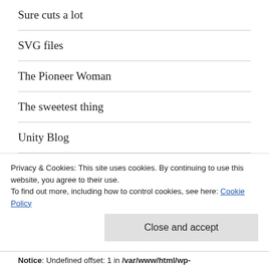Sure cuts a lot
SVG files
The Pioneer Woman
The sweetest thing
Unity Blog
FOLLOW US ON PINTEREST
[Figure (other): Pinterest follow button labeled Pam Pittwood]
Privacy & Cookies: This site uses cookies. By continuing to use this website, you agree to their use.
To find out more, including how to control cookies, see here: Cookie Policy
Close and accept
Notice: Undefined offset: 1 in /var/www/html/wp-